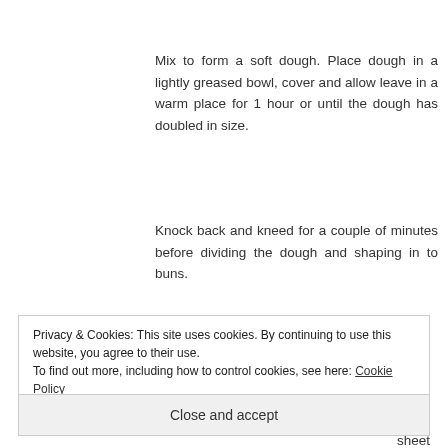Mix to form a soft dough. Place dough in a lightly greased bowl, cover and allow leave in a warm place for 1 hour or until the dough has doubled in size.
Knock back and kneed for a couple of minutes before dividing the dough and shaping in to buns.
Privacy & Cookies: This site uses cookies. By continuing to use this website, you agree to their use.
To find out more, including how to control cookies, see here: Cookie Policy
Close and accept
sheet